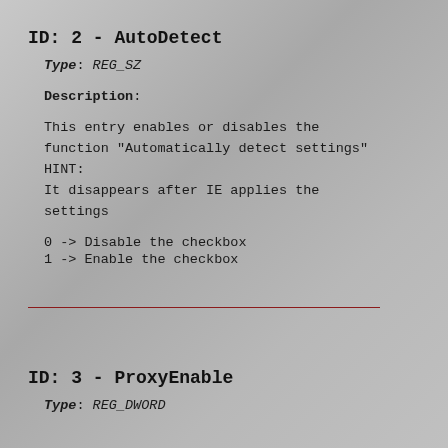ID: 2 - AutoDetect
Type: REG_SZ
Description:
This entry enables or disables the function "Automatically detect settings" HINT:
It disappears after IE applies the settings
0 -> Disable the checkbox
1 -> Enable the checkbox
ID: 3 - ProxyEnable
Type: REG_DWORD